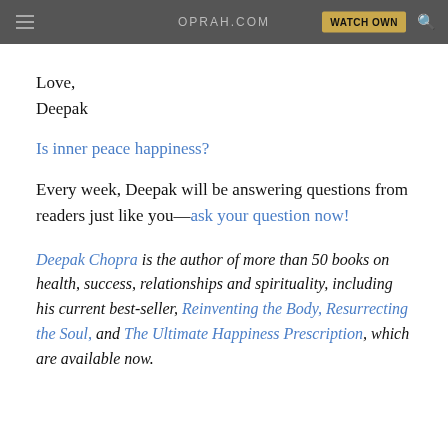OPRAH.COM | WATCH OWN
Love,
Deepak
Is inner peace happiness?
Every week, Deepak will be answering questions from readers just like you—ask your question now!
Deepak Chopra is the author of more than 50 books on health, success, relationships and spirituality, including his current best-seller, Reinventing the Body, Resurrecting the Soul, and The Ultimate Happiness Prescription, which are available now.